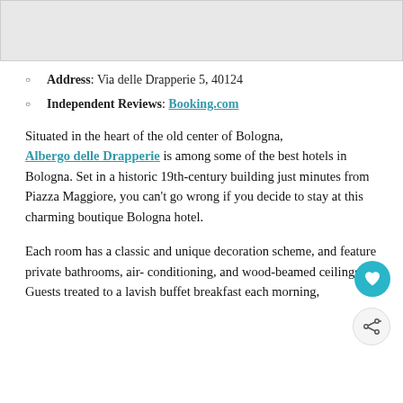[Figure (photo): Gray placeholder image area at the top of the page]
Address: Via delle Drapperie 5, 40124
Independent Reviews: Booking.com
Situated in the heart of the old center of Bologna, Albergo delle Drapperie is among some of the best hotels in Bologna. Set in a historic 19th-century building just minutes from Piazza Maggiore, you can't go wrong if you decide to stay at this charming boutique Bologna hotel.
Each room has a classic and unique decoration scheme, and feature private bathrooms, air-conditioning, and wood-beamed ceilings. Guests treated to a lavish buffet breakfast each morning,